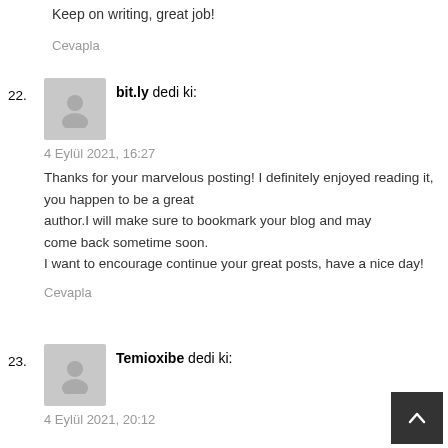Keep on writing, great job!
Cevapla
22. bit.ly dedi ki:
4 Eylül 2021, 16:27
Thanks for your marvelous posting! I definitely enjoyed reading it, you happen to be a great author.I will make sure to bookmark your blog and may come back sometime soon.
I want to encourage continue your great posts, have a nice day!
Cevapla
23. Temioxibe dedi ki:
4 Eylül 2021, 20:12